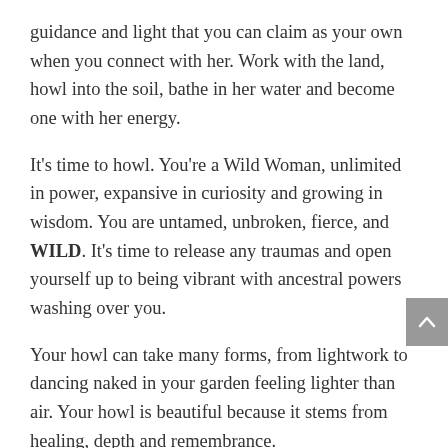guidance and light that you can claim as your own when you connect with her. Work with the land, howl into the soil, bathe in her water and become one with her energy.
It's time to howl. You're a Wild Woman, unlimited in power, expansive in curiosity and growing in wisdom. You are untamed, unbroken, fierce, and WILD. It's time to release any traumas and open yourself up to being vibrant with ancestral powers washing over you.
Your howl can take many forms, from lightwork to dancing naked in your garden feeling lighter than air. Your howl is beautiful because it stems from healing, depth and remembrance.
Divine Woman, you may have felt the call, and I invite you to look to your future, vibrant, powerful